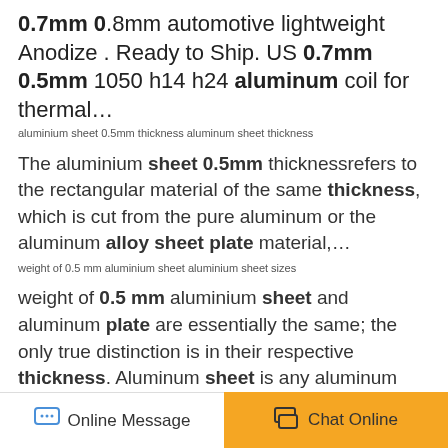0.7mm 0.8mm automotive lightweight Anodize . Ready to Ship. US 0.7mm 0.5mm 1050 h14 h24 aluminum coil for thermal…
aluminium sheet 0.5mm thickness aluminum sheet thickness
The aluminium sheet 0.5mm thicknessrefers to the rectangular material of the same thickness, which is cut from the pure aluminum or the aluminum alloy sheet plate material,…
weight of 0.5 mm aluminium sheet aluminium sheet sizes
weight of 0.5 mm aluminium sheet and aluminum plate are essentially the same; the only true distinction is in their respective thickness. Aluminum sheet is any aluminum shee…
HOT PRODUCT
trustworthy 6 mm aluminum foil plate
color aluminum coil stock Coil stock
125 series aluminum circle for pan
Online Message
Chat Online